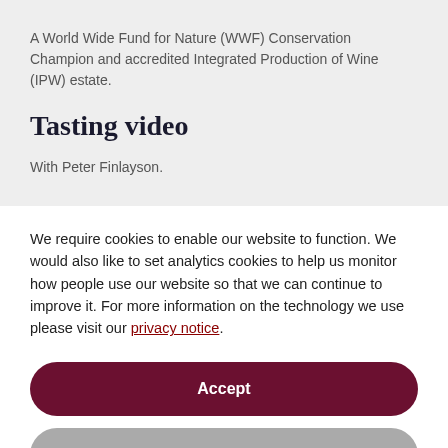A World Wide Fund for Nature (WWF) Conservation Champion and accredited Integrated Production of Wine (IPW) estate.
Tasting video
With Peter Finlayson.
We require cookies to enable our website to function. We would also like to set analytics cookies to help us monitor how people use our website so that we can continue to improve it. For more information on the technology we use please visit our privacy notice.
Accept
No, customise